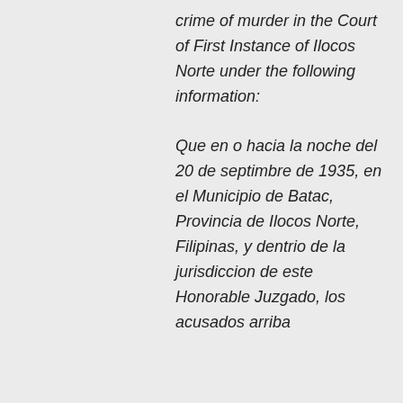crime of murder in the Court of First Instance of Ilocos Norte under the following information: Que en o hacia la noche del 20 de septimbre de 1935, en el Municipio de Batac, Provincia de Ilocos Norte, Filipinas, y dentrio de la jurisdiccion de este Honorable Juzgado, los acusados arriba